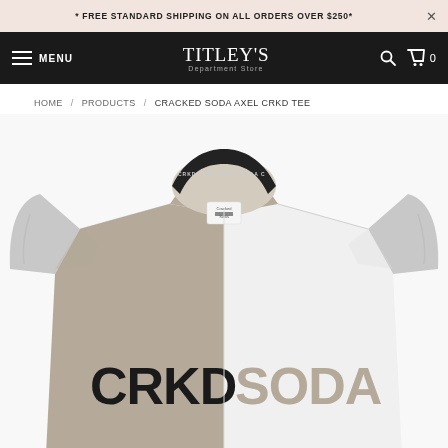* FREE STANDARD SHIPPING ON ALL ORDERS OVER $250*
TITLEY'S Department Store — MENU — Search — Cart 0
HOME / PRODUCTS / CRACKED SODA AXEL CRKD TEE
[Figure (photo): Close-up photo of a Cracked Soda Axel CRKD Tee t-shirt with color-blocked panels: grey melange sleeves, taupe/beige left front panel, white right front panel, black ribbed collar with 'CRKD SODA CRKD SODA' text, a small Cracked Soda brand label, and large bold text reading 'CRKD' on the left panel and 'SODA' on the right panel.]